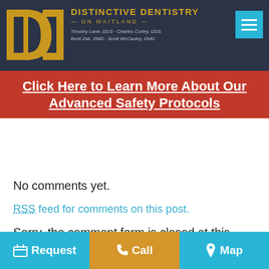DISTINCTIVE DENTISTRY ON MAITLAND | Timothy Lane, DDS · Charles Curley, DDS · Brett Zak, DMD · Scott McCauley, DMD
Click Here to Learn More About Our Advanced Safety Protocols
No comments yet.
RSS feed for comments on this post.
Sorry, the comment form is closed at this time.
[Figure (logo): Large gold DD monogram logo on dark navy background in footer section]
Request | Call | Map